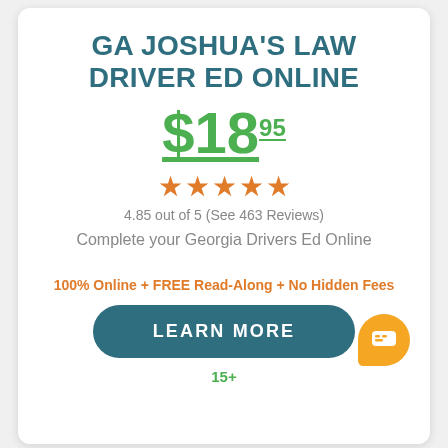GA JOSHUA'S LAW DRIVER ED ONLINE
$18.95
4.85 out of 5 (See 463 Reviews)
Complete your Georgia Drivers Ed Online
100% Online + FREE Read-Along + No Hidden Fees
LEARN MORE
15+